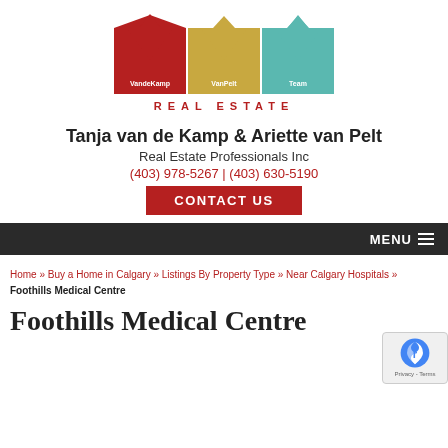[Figure (logo): VandeKamp VanPelt Team Real Estate logo with three M-shaped figures in red, gold, and teal colors above the text REAL ESTATE]
Tanja van de Kamp & Ariette van Pelt
Real Estate Professionals Inc
(403) 978-5267 | (403) 630-5190
CONTACT US
MENU
Home » Buy a Home in Calgary » Listings By Property Type » Near Calgary Hospitals » Foothills Medical Centre
Foothills Medical Centre